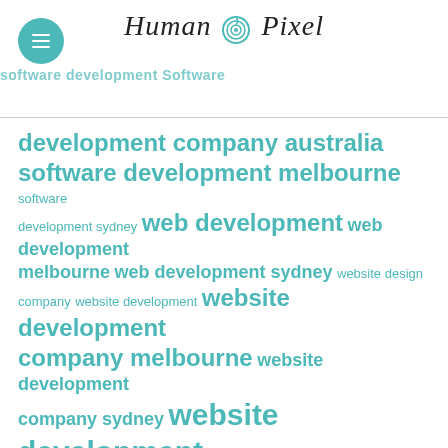Human Pixel — logo header with navigation and tag cloud background: development software web website automation software development software
[Figure (logo): Human Pixel logo — stylized italic text 'Human Pixel' with a fingerprint icon between the two words, teal/dark color scheme]
development company australia software development melbourne software development sydney web development web development melbourne web development sydney website design company website development website development company melbourne website development company sydney website development melbourne website development sydney woocommerce woocommerce specialist wordpress wordpress developer brisbane wordpress developer melbourne wordpress developer sydney zoho crm consultant zoho partner australia